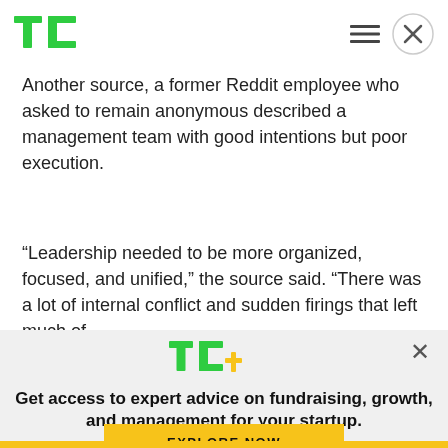TechCrunch logo and navigation icons
Another source, a former Reddit employee who asked to remain anonymous described a management team with good intentions but poor execution.
“Leadership needed to be more organized, focused, and unified,” the source said. “There was a lot of internal conflict and sudden firings that left much of
[Figure (logo): TC+ logo with green TC letters and yellow plus sign]
Get access to expert advice on fundraising, growth, and management for your startup.
EXPLORE NOW